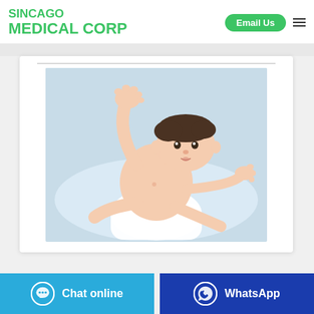SINCAGO MEDICAL CORP | Email Us
[Figure (photo): Baby lying on back on a light blue surface, wearing a white diaper, lifting one foot and one arm toward the camera, looking up with curiosity. Medical/pediatric product website image.]
Chat online
WhatsApp